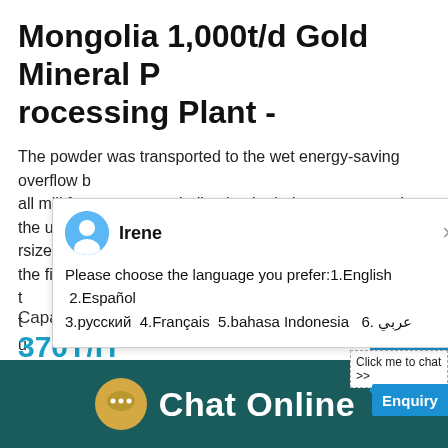Mongolia 1,000t/d Gold Mineral Processing Plant -
The powder was transported to the wet energy-saving overflow ball mill for one stage grinding by the belt conveyor, and the undersize pulp (-3mm) was pumped into the hydrocyclone for the first t... to... u...
[Figure (screenshot): Chat popup with avatar of Irene asking user to choose language: 1.English 2.Español 3.русский 4.Français 5.bahasa Indonesia 6. عربي]
Capacity
370T/H
Reviews
[Figure (other): Five gold star rating icons]
[Figure (screenshot): Chat Online footer bar with speech bubble icon and Chat Online text on dark teal background]